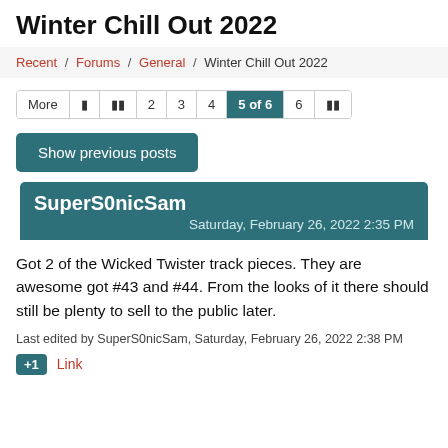Winter Chill Out 2022
Recent / Forums / General / Winter Chill Out 2022
More | |< << 2 3 4 5 of 6 6 >|
Show previous posts
SuperS0nicSam
Saturday, February 26, 2022 2:35 PM
Got 2 of the Wicked Twister track pieces. They are awesome got #43 and #44. From the looks of it there should still be plenty to sell to the public later.
Last edited by SuperS0nicSam, Saturday, February 26, 2022 2:38 PM
+1  Link